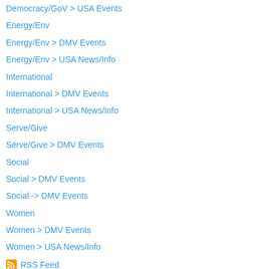Democracy/GoV > USA Events
Energy/Env
Energy/Env > DMV Events
Energy/Env > USA News/Info
International
International > DMV Events
International > USA News/Info
Serve/Give
Serve/Give > DMV Events
Social
Social > DMV Events
Social -> DMV Events
Women
Women > DMV Events
Women > USA News/Info
RSS Feed
Version: Mobile | Web
Created with Weebly  Get the App